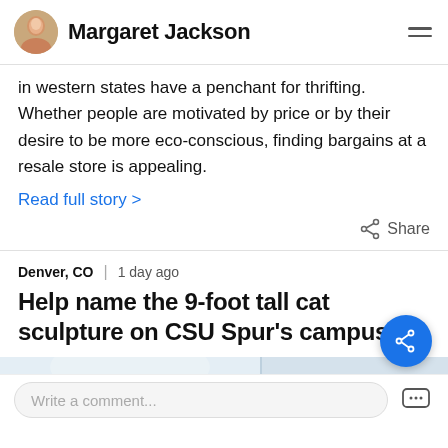Margaret Jackson
in western states have a penchant for thrifting. Whether people are motivated by price or by their desire to be more eco-conscious, finding bargains at a resale store is appealing.
Read full story >
Denver, CO | 1 day ago
Help name the 9-foot tall cat sculpture on CSU Spur's campus
[Figure (photo): Partial view of a white cat sculpture on CSU Spur campus]
Write a comment...